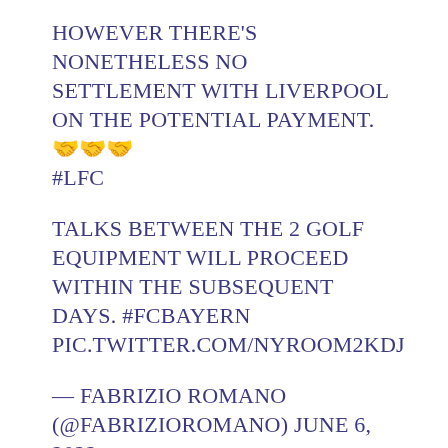HOWEVER THERE'S NONETHELESS NO SETTLEMENT WITH LIVERPOOL ON THE POTENTIAL PAYMENT. 🤝🤝🤝 #LFC
TALKS BETWEEN THE 2 GOLF EQUIPMENT WILL PROCEED WITHIN THE SUBSEQUENT DAYS. #FCBAYERN PIC.TWITTER.COM/NYROOM2KDJ
— FABRIZIO ROMANO (@FABRIZIOROMANO) JUNE 6, 2022